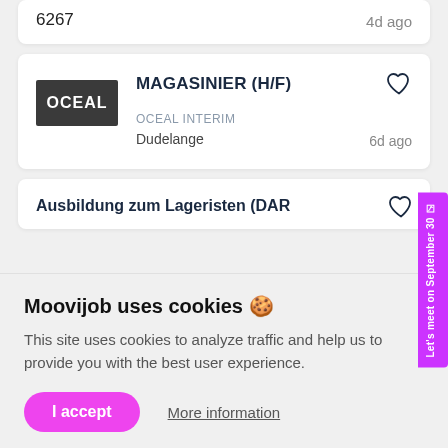6267   4d ago
MAGASINIER (H/F)
[Figure (logo): OCEAL logo, white text on dark grey background]
OCEAL INTERIM
Dudelange   6d ago
Ausbildung zum Lageristen (DAR...
Moovijob uses cookies 🍪
This site uses cookies to analyze traffic and help us to provide you with the best user experience.
I accept
More information
Action Intérim S.A.
Let's meet on September 30